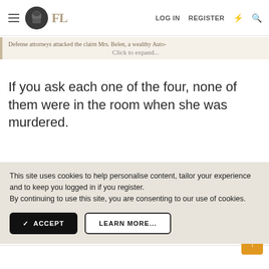FL | LOG IN | REGISTER
Defense attorneys attacked the claim Mrs. Belen, a wealthy Auto- Click to expand...
If you ask each one of the four, none of them were in the room when she was murdered.
This site uses cookies to help personalise content, tailor your experience and to keep you logged in if you register. By continuing to use this site, you are consenting to our use of cookies.
ACCEPT  LEARN MORE...
LizzieMaine said